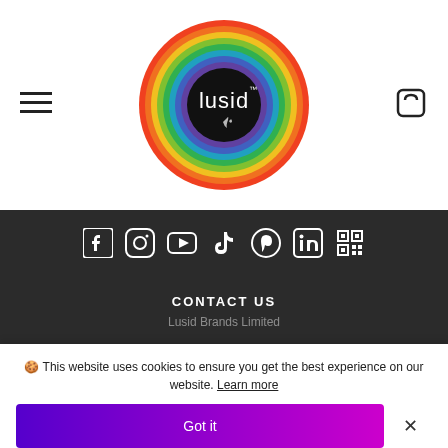[Figure (logo): Lusid brand logo: circular rainbow-ringed badge with black center and white 'lusid' wordmark with TM, New Zealand map outline below]
[Figure (infographic): Row of white social media icons on dark background: Facebook, Instagram, YouTube, TikTok, Pinterest, LinkedIn, QR code]
CONTACT US
Lusid Brands Limited
🍪 This website uses cookies to ensure you get the best experience on our website. Learn more
Got it